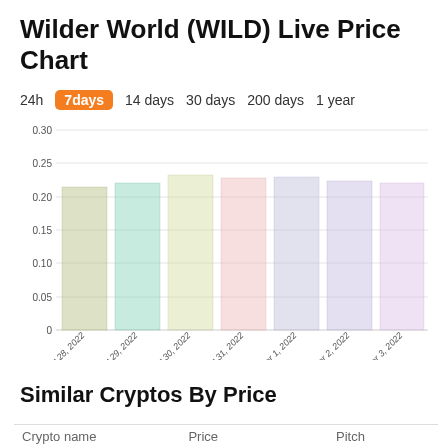Wilder World (WILD) Live Price Chart
24h  7days  14 days  30 days  200 days  1 year
[Figure (bar-chart): Wilder World (WILD) Live Price Chart]
Similar Cryptos By Price
| Crypto name | Price | Pitch |
| --- | --- | --- |